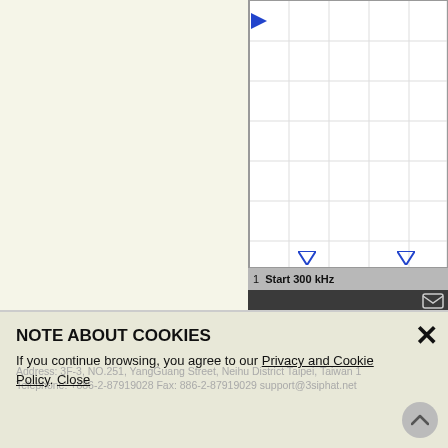[Figure (screenshot): Partial view of a spectrum analyzer or signal generator instrument software UI showing a white grid area with blue marker arrows, a status bar reading '1 Start 300 kHz', a dark toolbar with an envelope/email icon, and a light yellow-green background on the left portion.]
NOTE ABOUT COOKIES
If you continue browsing, you agree to our Privacy and Cookie Policy. Close
Address: 3F-3, NO.251, YangGuang Street, Neihu District Taipei, Taiwan 1 Telephone: +886-2-87919028 Fax: 886-2-87919029 support@3siphat.net